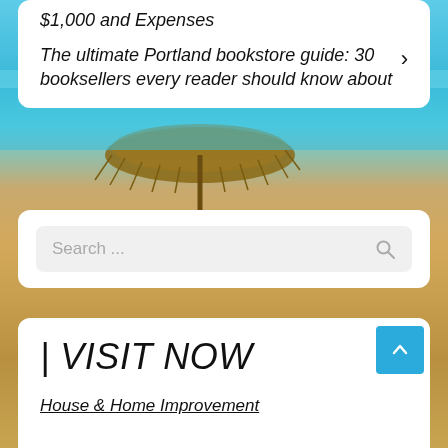$1,000 and Expenses
The ultimate Portland bookstore guide: 30 booksellers every reader should know about
[Figure (screenshot): Beach background with turquoise sea, thatched umbrella, and sandy shore]
Search ...
| VISIT NOW
House & Home Improvement